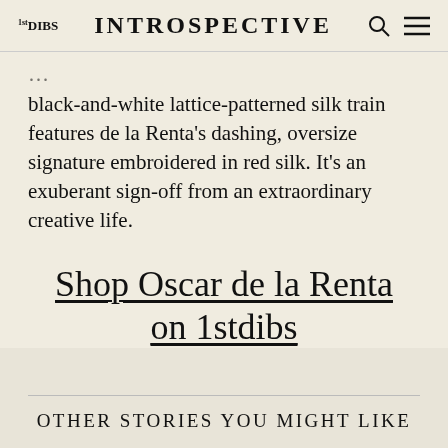1stDIBS INTROSPECTIVE
black-and-white lattice-patterned silk train features de la Renta’s dashing, oversize signature embroidered in red silk. It’s an exuberant sign-off from an extraordinary creative life.
Shop Oscar de la Renta on 1stdibs
OTHER STORIES YOU MIGHT LIKE